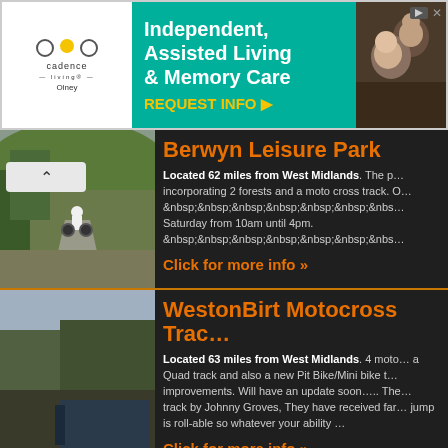[Figure (photo): Codence Living advertisement banner — Independent, Assisted Living & Memory Care, REQUEST INFO]
Berwyn Leisure Park
Located 62 miles from West Midlands. The p... incorporating 2 forests and a moto cross track. ... Saturday from 10am until 4pm. ...
Click for more info »
[Figure (photo): Photo of a motocross rider on a hillside track at Berwyn Leisure Park]
WestonBirt Motocross Trac...
Located 63 miles from West Midlands. 4 moto... a Quad track and also a new Pit Bike/Mini bike t... improvements. Will have an update soon..... The... track by Johnny Groves, They have received far... jump is roll-able so whatever your ability ...
Click for more info »
[Figure (photo): Photo of motocross bikes and riders at WestonBirt Motocross Track]